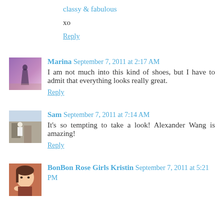classy & fabulous
xo
Reply
Marina  September 7, 2011 at 2:17 AM
I am not much into this kind of shoes, but I have to admit that everything looks really great.
Reply
Sam  September 7, 2011 at 7:14 AM
It's so tempting to take a look! Alexander Wang is amazing!
Reply
BonBon Rose Girls Kristin  September 7, 2011 at 5:21 PM